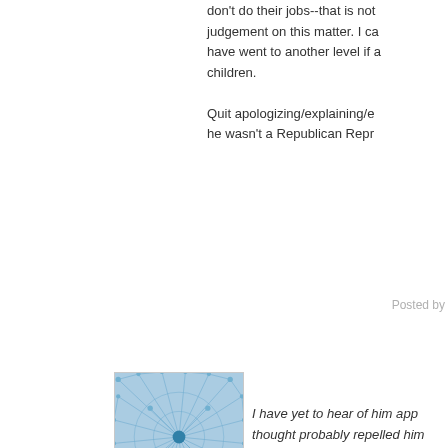don't do their jobs--that is not judgement on this matter. I ca have went to another level if a children.
Quit apologizing/explaining/e he wasn't a Republican Repr
Posted by
[Figure (illustration): Blue network/neural pattern avatar image]
I have yet to hear of him app thought probably repelled him
Ahhhhh the voice of hypocris approached anyone. Show us anyone involved here was a c just post lies without proof.
And then show us the law tha
Again. We can wait.
[Figure (illustration): Green sunburst/radial pattern avatar image]
I appreciate the irony in that s because, unlike the case of t